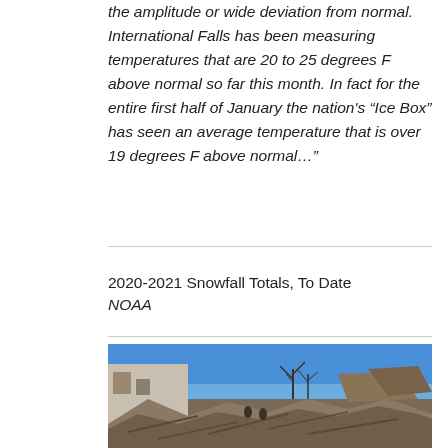the amplitude or wide deviation from normal. International Falls has been measuring temperatures that are 20 to 25 degrees F above normal so far this month. In fact for the entire first half of January the nation's “Ice Box” has seen an average temperature that is over 19 degrees F above normal…”
2020-2021 Snowfall Totals, To Date
NOAA
[Figure (photo): Photograph of storm damage showing destroyed buildings with debris and rubble in the foreground, bare trees in the background, and a clear blue sky above.]